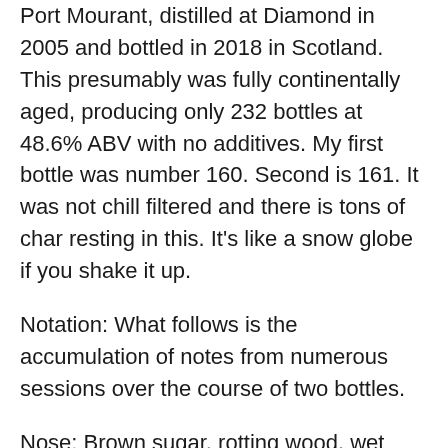Port Mourant, distilled at Diamond in 2005 and bottled in 2018 in Scotland. This presumably was fully continentally aged, producing only 232 bottles at 48.6% ABV with no additives. My first bottle was number 160. Second is 161. It was not chill filtered and there is tons of char resting in this. It's like a snow globe if you shake it up.
Notation: What follows is the accumulation of notes from numerous sessions over the course of two bottles.
Nose: Brown sugar, rotting wood, wet grass, cedar, soursop, crayon, ocean mist, cinnamon. Very slightly “off” milk. Second bottle: Wonderful sweetness. Cotton candy, vanilla frosting, nutmeg, raison, wet forest, fresh cracked walnuts, a little pepper, the precipice of rank armpit, but in a pleasant way. This just gives and gives and gives....